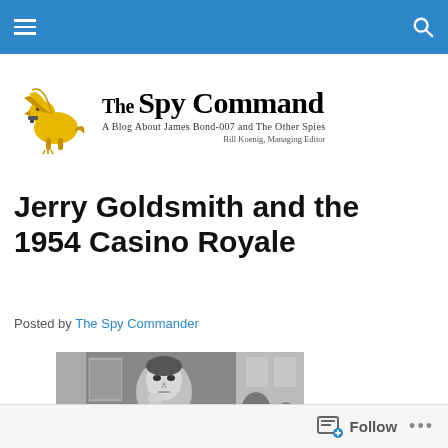Navigation bar with hamburger menu and search icon
[Figure (logo): The Spy Command logo: golden winged griffin holding a gun, with text 'The Spy Command — A Blog About James Bond-007 and The Other Spies', Bill Koenig, Managing Editor]
Jerry Goldsmith and the 1954 Casino Royale
Posted by The Spy Commander
[Figure (photo): Black and white photo of a man in a suit with bow tie, looking serious, at what appears to be a casino or formal event]
Follow ...